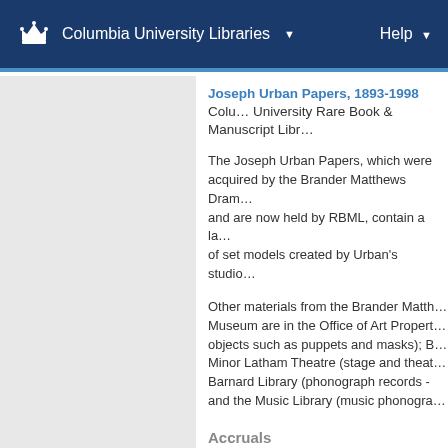Columbia University Libraries    Help
Joseph Urban Papers, 1893-1998 Columbia University Rare Book & Manuscript Libr…
The Joseph Urban Papers, which were acquired by the Brander Matthews Dram… and are now held by RBML, contain a la… of set models created by Urban's studio…
Other materials from the Brander Matth… Museum are in the Office of Art Propert… objects such as puppets and masks); B… Minor Latham Theatre (stage and theat… Barnard Library (phonograph records -… and the Music Library (music phonogra…
Accruals
Materials may have been added to the … since this finding aid was prepared. Co… rbml@columbia.edu for more informatio…